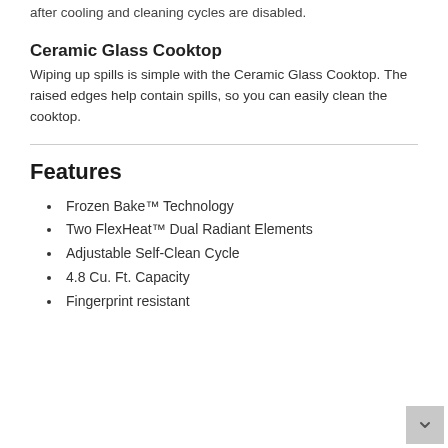after cooling and cleaning cycles are disabled.
Ceramic Glass Cooktop
Wiping up spills is simple with the Ceramic Glass Cooktop. The raised edges help contain spills, so you can easily clean the cooktop.
Features
Frozen Bake™ Technology
Two FlexHeat™ Dual Radiant Elements
Adjustable Self-Clean Cycle
4.8 Cu. Ft. Capacity
Fingerprint resistant